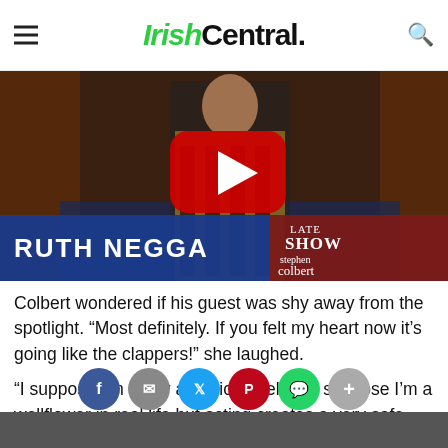IrishCentral.
[Figure (screenshot): YouTube video thumbnail of Ruth Negga on The Late Show with Stephen Colbert. Shows Ruth Negga in a colorful outfit. A YouTube play button is centered. Lower bar reads 'RUTH NEGGA' with Late Show Stephen Colbert branding on right.]
Colbert wondered if his guest was shy away from the spotlight. “Most definitely. If you felt my heart now it’s going like the clappers!” she laughed.
“I suppose I’m a shy attention seeker. I suppose I’m a wallflower in real life but acting creates a very safe space where you can d... va... en t... yo...